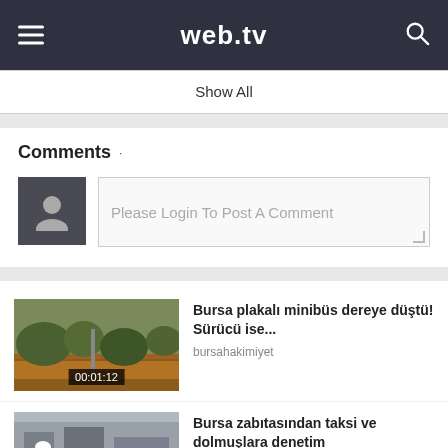web.tv
Show All
Comments
Please Login To Post A Comment
Bursa plakalı minibüs dereye düştü! Sürücü ise...
bursahakimiyet
00:01:12
Bursa zabıtasından taksi ve dolmuşlara denetim
bursahakimiyet
00:01:12